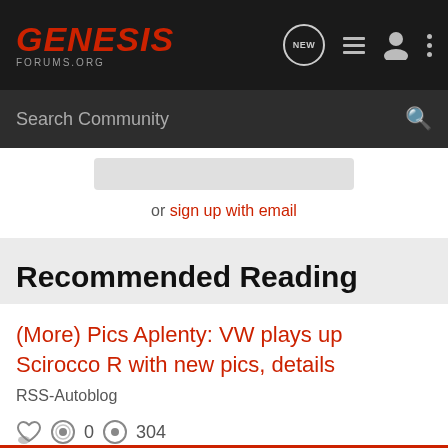GENESIS FORUMS.ORG
Search Community
or sign up with email
Recommended Reading
(More) Pics Aplenty: VW plays up Scirocco R with new pics, details
RSS-Autoblog
0   304
GenesisFan · updated Dec 10, 2009